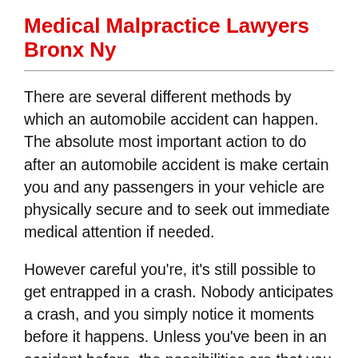Medical Malpractice Lawyers Bronx Ny
There are several different methods by which an automobile accident can happen. The absolute most important action to do after an automobile accident is make certain you and any passengers in your vehicle are physically secure and to seek out immediate medical attention if needed.
However careful you're, it's still possible to get entrapped in a crash. Nobody anticipates a crash, and you simply notice it moments before it happens. Unless you've been in an accident before, the possibilities are that you may not